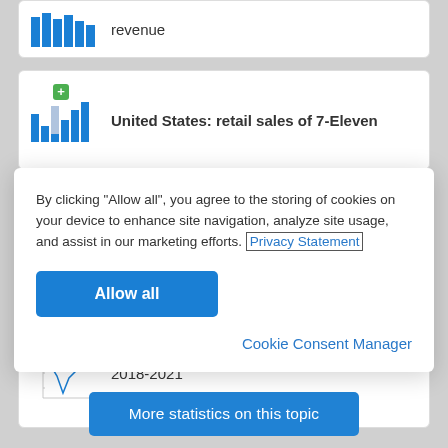[Figure (screenshot): Partial bar chart thumbnail showing blue bars, representing revenue data]
revenue
[Figure (screenshot): Partial bar chart thumbnail with a green plus icon, representing United States retail sales of 7-Eleven]
United States: retail sales of 7-Eleven
By clicking “Allow all”, you agree to the storing of cookies on your device to enhance site navigation, analyze site usage, and assist in our marketing efforts. Privacy Statement
Allow all
Cookie Consent Manager
[Figure (line-chart): Partial line chart thumbnail showing fluctuating line, representing data from 2018-2021]
2018-2021
More statistics on this topic